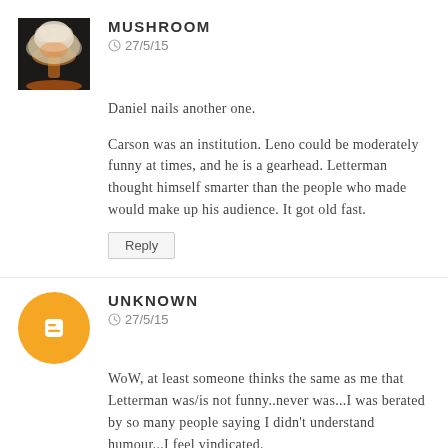[Figure (photo): Avatar thumbnail showing a mushroom cloud explosion (nuclear/atomic blast) with orange glow against dark sky]
MUSHROOM
27/5/15
Daniel nails another one.
Carson was an institution. Leno could be moderately funny at times, and he is a gearhead. Letterman thought himself smarter than the people who made would make up his audience. It got old fast.
Reply
[Figure (logo): Orange circle with white Blogger 'B' icon inside]
UNKNOWN
27/5/15
WoW, at least someone thinks the same as me that Letterman was/is not funny..never was...I was berated by so many people saying I didn't understand humour...I feel vindicated.
Now, this may be "infantile" to some, but when I first saw this, I laughed so much, I had a belly ache. 8 mins of a YT video made me laugh for